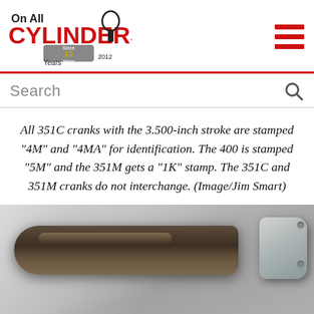On All Cylinders (logo) — navigation header with hamburger menu
Search
All 351C cranks with the 3.500-inch stroke are stamped “4M” and “4MA” for identification. The 400 is stamped “5M” and the 351M gets a “1K” stamp. The 351C and 351M cranks do not interchange. (Image/Jim Smart)
[Figure (photo): Close-up photograph of an engine connecting rod (crankshaft rod journal), showing a dark steel rod with a silver cap/bearing on the right side, against a light grey background.]